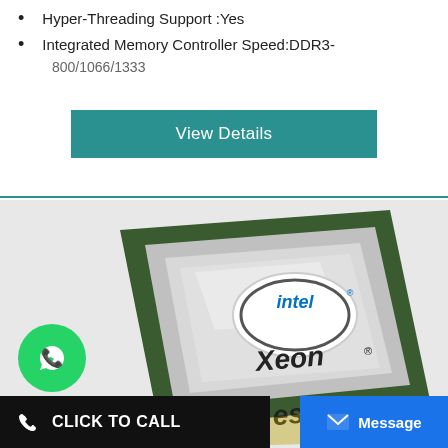Hyper-Threading Support :Yes
Integrated Memory Controller Speed:DDR3-800/1066/1333
View Details
[Figure (photo): Intel Xeon processor chip photograph with green PCB, silver heat spreader with Intel logo and 'Xeon' text visible, angled view]
CLICK TO CALL
Message